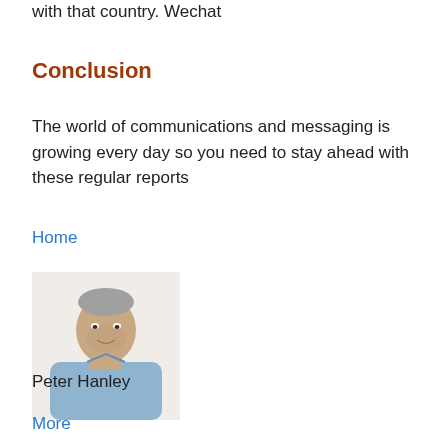with that country. Wechat
Conclusion
The world of communications and messaging is growing every day so you need to stay ahead with these regular reports
Home
[Figure (photo): Portrait photo of an older man with grey hair wearing a light blue shirt, against a white background.]
Peter Hanley
More